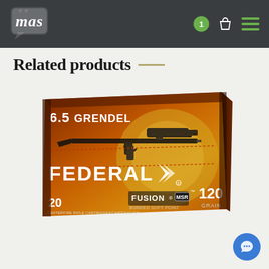MAS - Online Store Header with logo, cart badge (1), bag icon, and hamburger menu
Related products
[Figure (photo): Federal Fusion MSR 6.5 Grendel ammunition box, 120 grain bonded soft point, 20 centerfire rifle cartridges. Box features orange/brown background with rifle image and Federal branding.]
[Figure (other): Blue circular chat/messenger button at bottom right corner]